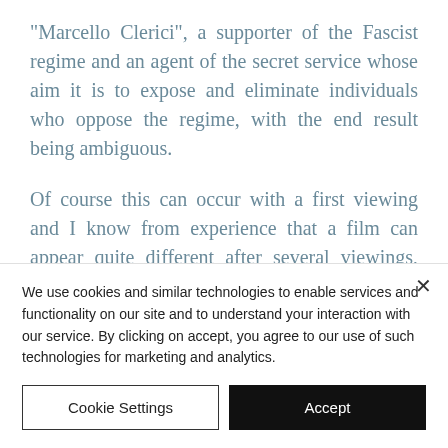"Marcello Clerici", a supporter of the Fascist regime and an agent of the secret service whose aim it is to expose and eliminate individuals who oppose the regime, with the end result being ambiguous.
Of course this can occur with a first viewing and I know from experience that a film can appear quite different after several viewings, especially if subtlety in meaning and
We use cookies and similar technologies to enable services and functionality on our site and to understand your interaction with our service. By clicking on accept, you agree to our use of such technologies for marketing and analytics.